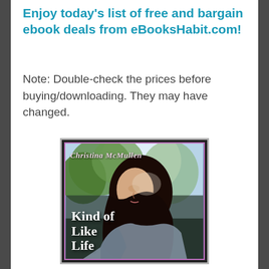Enjoy today's list of free and bargain ebook deals from eBooksHabit.com!
Note: Double-check the prices before buying/downloading. They may have changed.
[Figure (photo): Book cover for 'Kind of Like Life' by Christina McMullen. Shows a young woman with long dark hair looking to the side, with a soft outdoor background. Pink border frame around the image. Author name at top, book title at bottom in white text.]